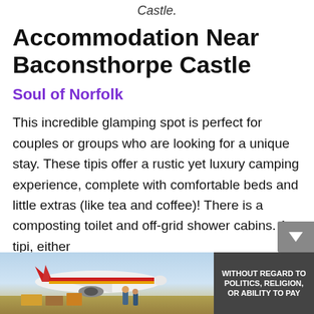Castle.
Accommodation Near Baconsthorpe Castle
Soul of Norfolk
This incredible glamping spot is perfect for couples or groups who are looking for a unique stay. These tipis offer a rustic yet luxury camping experience, complete with comfortable beds and little extras (like tea and coffee)! There is a composting toilet and off-grid shower cabins. A tipi, either
[Figure (photo): Advertisement banner showing an airplane with cargo being loaded, with a dark overlay panel on the right reading WITHOUT REGARD TO POLITICS, RELIGION, OR ABILITY TO PAY]